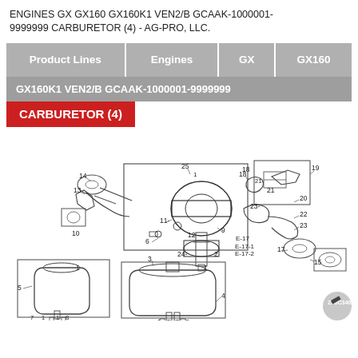ENGINES GX GX160 GX160K1 VEN2/B GCAAK-1000001-9999999 CARBURETOR (4) - AG-PRO, LLC.
Product Lines | Engines | GX | GX160
GX160K1 VEN2/B GCAAK-1000001-9999999
CARBURETOR (4)
[Figure (engineering-diagram): Exploded parts diagram of a carburetor assembly with numbered components (1-25, E-17, E-17-1, E-17-2). Shows the main carburetor body with fuel bowl, choke linkage, jets, gaskets, and associated hardware. Parts labeled include fuel bowl (5), float bowl assembly, choke plate components (13,14), idle screws (6,7,8), main jet (9), needle (12), gaskets (17), springs, and various clips and brackets (18-25).]